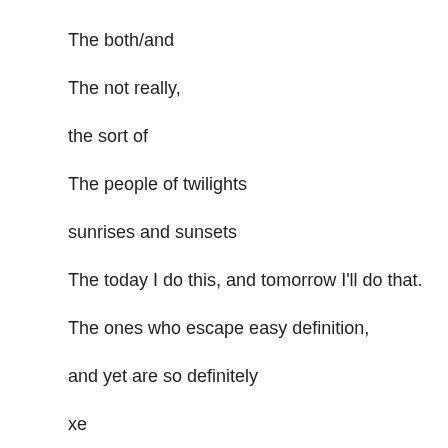The both/and
The not really,
the sort of
The people of twilights
sunrises and sunsets
The today I do this, and tomorrow I'll do that.
The ones who escape easy definition,
and yet are so definitely
xe